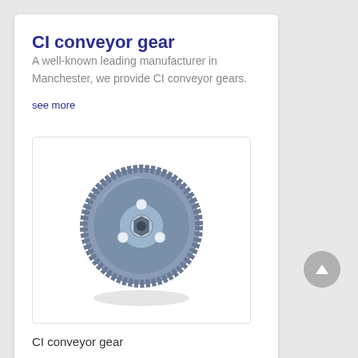CI conveyor gear
A well-known leading manufacturer in Manchester, we provide CI conveyor gears.
see more
[Figure (photo): A CI conveyor gear — a circular cast iron spur gear with teeth around the perimeter, a central hub/bore, and several circular holes on the face, photographed on a white background.]
CI conveyor gear